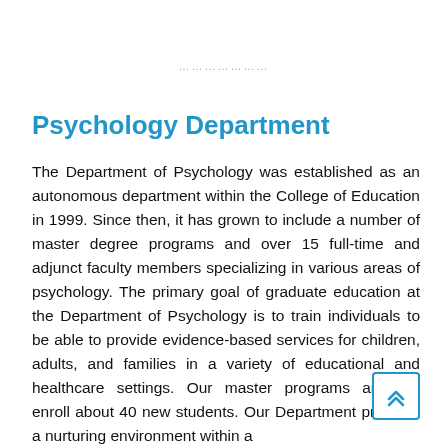.....................
Psychology Department
The Department of Psychology was established as an autonomous department within the College of Education in 1999. Since then, it has grown to include a number of master degree programs and over 15 full-time and adjunct faculty members specializing in various areas of psychology. The primary goal of graduate education at the Department of Psychology is to train individuals to be able to provide evidence-based services for children, adults, and families in a variety of educational and healthcare settings. Our master programs annually enroll about 40 new students. Our Department provides a nurturing environment within a